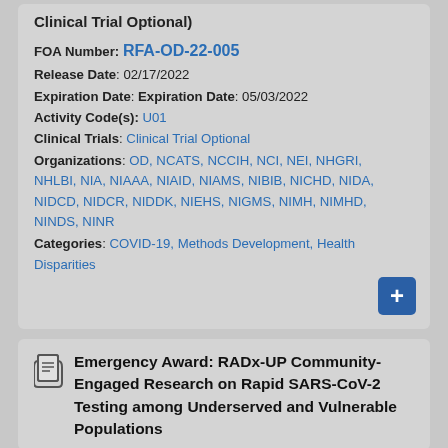Clinical Trial Optional)
FOA Number: RFA-OD-22-005
Release Date: 02/17/2022
Expiration Date: Expiration Date: 05/03/2022
Activity Code(s): U01
Clinical Trials: Clinical Trial Optional
Organizations: OD, NCATS, NCCIH, NCI, NEI, NHGRI, NHLBI, NIA, NIAAA, NIAID, NIAMS, NIBIB, NICHD, NIDA, NIDCD, NIDCR, NIDDK, NIEHS, NIGMS, NIMH, NIMHD, NINDS, NINR
Categories: COVID-19, Methods Development, Health Disparities
Emergency Award: RADx-UP Community-Engaged Research on Rapid SARS-CoV-2 Testing among Underserved and Vulnerable Populations